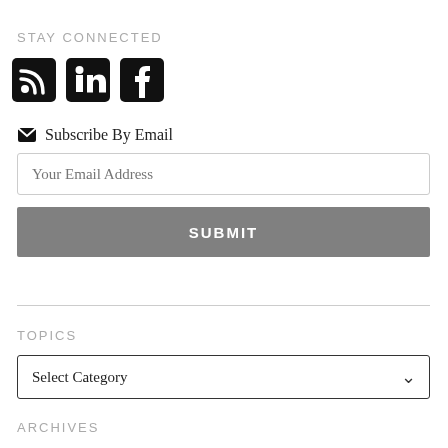STAY CONNECTED
[Figure (illustration): Social media icons: RSS feed, LinkedIn, and Facebook]
Subscribe By Email
Your Email Address
SUBMIT
TOPICS
Select Category
ARCHIVES